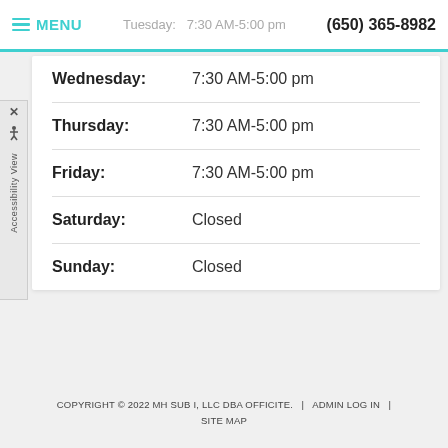MENU  Tuesday: 7:30 AM-5:00 pm  (650) 365-8982
| Day | Hours |
| --- | --- |
| Wednesday: | 7:30 AM-5:00 pm |
| Thursday: | 7:30 AM-5:00 pm |
| Friday: | 7:30 AM-5:00 pm |
| Saturday: | Closed |
| Sunday: | Closed |
COPYRIGHT © 2022 MH SUB I, LLC DBA OFFICITE.  |  ADMIN LOG IN  |  SITE MAP